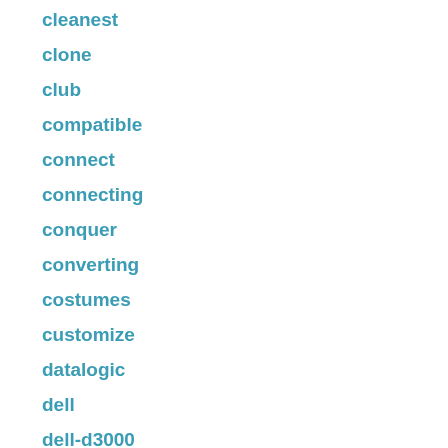cleanest
clone
club
compatible
connect
connecting
conquer
converting
costumes
customize
datalogic
dell
dell-d3000
dell-da310
dell-wd19s180w